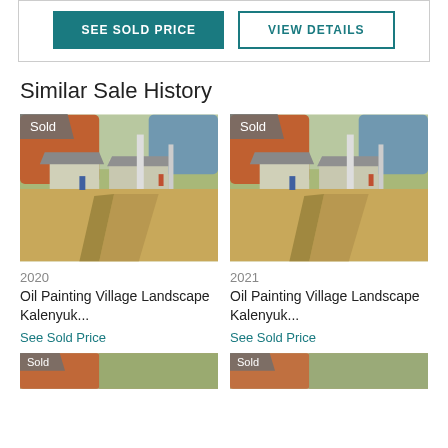[Figure (screenshot): Two buttons: 'SEE SOLD PRICE' (teal filled) and 'VIEW DETAILS' (teal outline)]
Similar Sale History
[Figure (photo): Oil painting of village landscape with houses, trees, and a dirt path. 'Sold' badge in top left corner.]
2020
Oil Painting Village Landscape Kalenyuk...
See Sold Price
[Figure (photo): Oil painting of village landscape with houses, trees, and a dirt path. 'Sold' badge in top left corner.]
2021
Oil Painting Village Landscape Kalenyuk...
See Sold Price
[Figure (photo): Partial image of another sold painting at bottom left]
[Figure (photo): Partial image of another sold painting at bottom right]